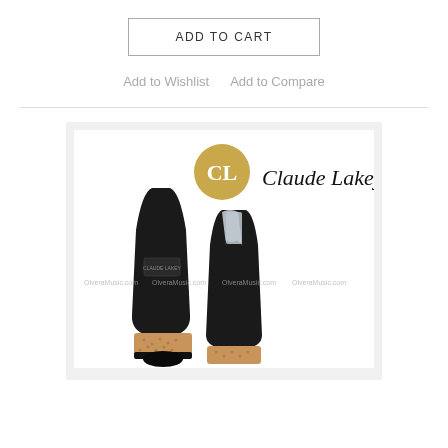ADD TO CART
Add to Wishlist    Add to Compare
[Figure (photo): Two Claude Lakey clarinet mouthpieces shown side by side — one closed with cork tenon visible, one open showing reed window. Claude Lakey logo (gold circle with CL monogram) and cursive brand name visible at top. Watermark text 'OlveraMusic.com' repeated across image.]